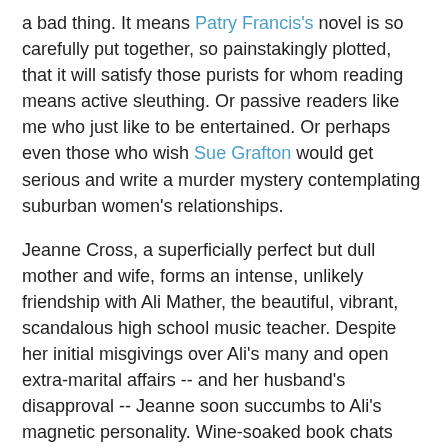a bad thing. It means Patry Francis's novel is so carefully put together, so painstakingly plotted, that it will satisfy those purists for whom reading means active sleuthing. Or passive readers like me who just like to be entertained. Or perhaps even those who wish Sue Grafton would get serious and write a murder mystery contemplating suburban women's relationships.
Jeanne Cross, a superficially perfect but dull mother and wife, forms an intense, unlikely friendship with Ali Mather, the beautiful, vibrant, scandalous high school music teacher. Despite her initial misgivings over Ali's many and open extra-marital affairs -- and her husband's disapproval -- Jeanne soon succumbs to Ali's magnetic personality. Wine-soaked book chats and walks by the lake ensue. Doesn't it sound dreamy? Don't we all wish that a really interesting person would suddenly take a special interest in us, and write about us in a diary like Ali's?
Unfortunately, the dream evaporates into stark, harsh reality when Ali is murdered in her own home, her diary goes missing, and the main suspect turns out to be Jeanne's